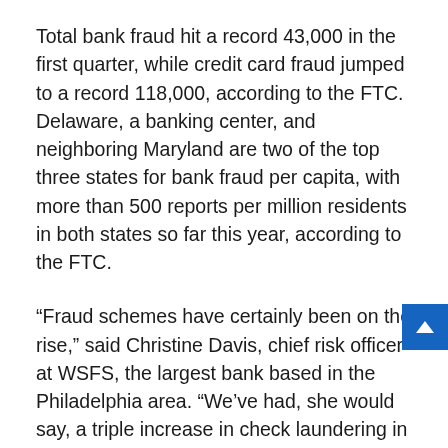Total bank fraud hit a record 43,000 in the first quarter, while credit card fraud jumped to a record 118,000, according to the FTC. Delaware, a banking center, and neighboring Maryland are two of the top three states for bank fraud per capita, with more than 500 reports per million residents in both states so far this year, according to the FTC.
“Fraud schemes have certainly been on the rise,” said Christine Davis, chief risk officer at WSFS, the largest bank based in the Philadelphia area. “We’ve had, she would say, a triple increase in check laundering in the last few years.”
When we reported the thefts from our account—before we heard from postal inspectors—Davis’s colleagues asked if we had lost any checks in the weeks before the fraud. I told the that our April payment to Delmarva Power had not been collected. We surmised that perhaps it had strayed into his